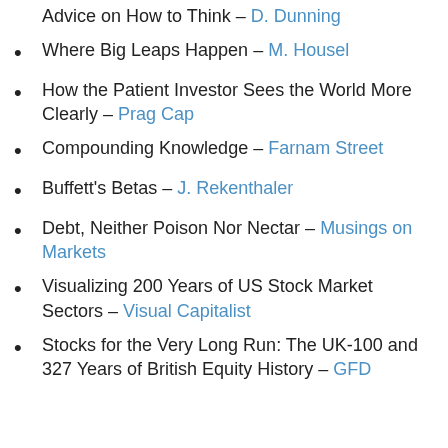Advice on How to Think – D. Dunning
Where Big Leaps Happen – M. Housel
How the Patient Investor Sees the World More Clearly – Prag Cap
Compounding Knowledge – Farnam Street
Buffett's Betas – J. Rekenthaler
Debt, Neither Poison Nor Nectar – Musings on Markets
Visualizing 200 Years of US Stock Market Sectors – Visual Capitalist
Stocks for the Very Long Run: The UK-100 and 327 Years of British Equity History – GFD